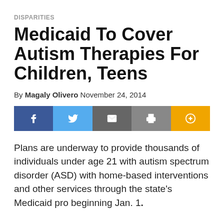DISPARITIES
Medicaid To Cover Autism Therapies For Children, Teens
By Magaly Olivero November 24, 2014
[Figure (infographic): Social sharing buttons: Facebook, Twitter, Email, Print, Plus]
Plans are underway to provide thousands of individuals under age 21 with autism spectrum disorder (ASD) with home-based interventions and other services through the state's Medicaid pro beginning Jan. 1.